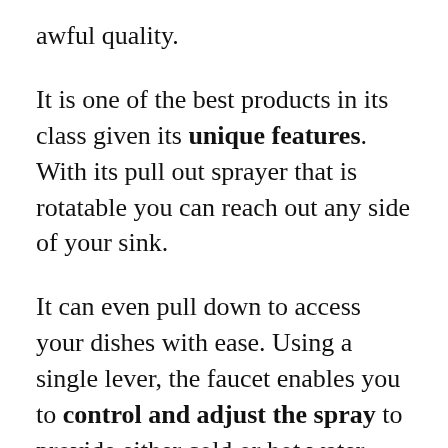awful quality.
It is one of the best products in its class given its unique features. With its pull out sprayer that is rotatable you can reach out any side of your sink.
It can even pull down to access your dishes with ease. Using a single lever, the faucet enables you to control and adjust the spray to provide either cold or hot water.
The body is constructed with a lead-free brass, which is safer and durable. But, unlike the aforementioned products, this faucet